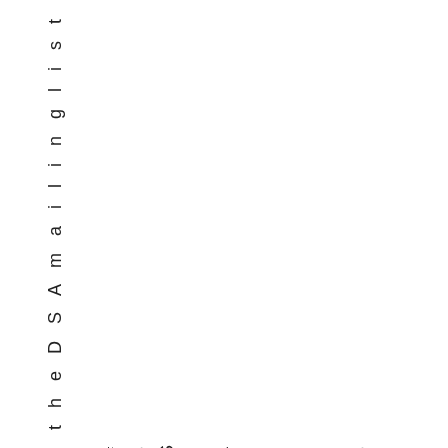n t h e D S A m a i l i n g l i s t  # 3 S t a r t t h e
n t h e D S A m a i l i n g l i s t 
#3 S t a r t t h e